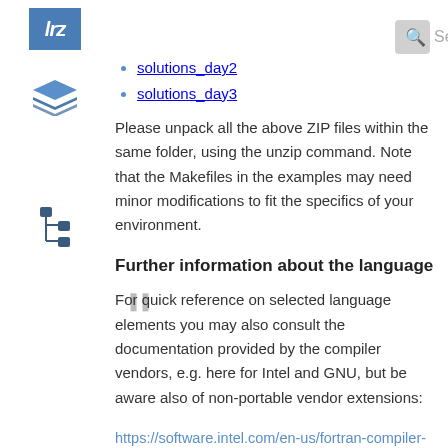[Figure (logo): LRZ logo - blue square with 'lrz' text in white italic]
[Figure (illustration): Layers/stack icon in blue]
[Figure (illustration): Tree/hierarchy icon in dark blue]
[Figure (other): Search bar with magnifying glass icon]
solutions_day2
solutions_day3
Please unpack all the above ZIP files within the same folder, using the unzip command. Note that the Makefiles in the examples may need minor modifications to fit the specifics of your environment.
Further information about the language
For quick reference on selected language elements you may also consult the documentation provided by the compiler vendors, e.g. here for Intel and GNU, but be aware also of non-portable vendor extensions:
https://software.intel.com/en-us/fortran-compiler-developer-guide-and-reference
https://gcc.gnu.org/onlinedocs/gfortran/